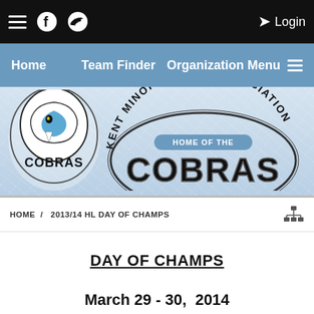☰  Facebook  Twitter  Login
Home  Team Finder  Organization Menu
[Figure (logo): Kent Minor Hockey Association - Home of the Cobras banner with cobra mascot logo on left and stylized text on right]
HOME / 2013/14 HL DAY OF CHAMPS
DAY OF CHAMPS
March 29 - 30, 2014